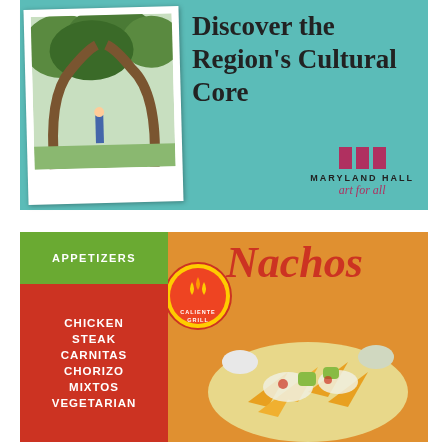[Figure (photo): Top section: teal/turquoise background with polaroid photo of a tree sculpture archway in a park, and Maryland Hall art organization logo]
Discover the Region's Cultural Core
[Figure (logo): Maryland Hall logo with three column icon, text MARYLAND HALL art for all]
[Figure (photo): Bottom section: Caliente Grill menu advertisement for Nachos appetizers with food photo, options: Chicken, Steak, Carnitas, Chorizo, Mixtos, Vegetarian]